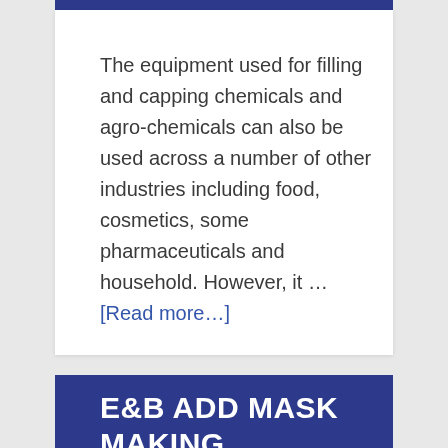The equipment used for filling and capping chemicals and agro-chemicals can also be used across a number of other industries including food, cosmetics, some pharmaceuticals and household. However, it … [Read more…]
E&B ADD MASK MAKING MACHINERY